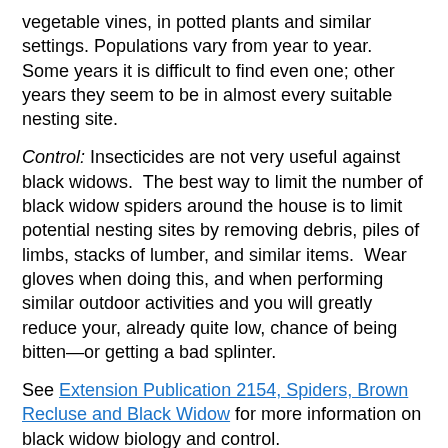vegetable vines, in potted plants and similar settings. Populations vary from year to year.  Some years it is difficult to find even one; other years they seem to be in almost every suitable nesting site.
Control: Insecticides are not very useful against black widows.  The best way to limit the number of black widow spiders around the house is to limit potential nesting sites by removing debris, piles of limbs, stacks of lumber, and similar items.  Wear gloves when doing this, and when performing similar outdoor activities and you will greatly reduce your, already quite low, chance of being bitten—or getting a bad splinter.
See Extension Publication 2154, Spiders, Brown Recluse and Black Widow for more information on black widow biology and control.
Annual fatality statistics from J. A. Forrester, et. al., 2018,